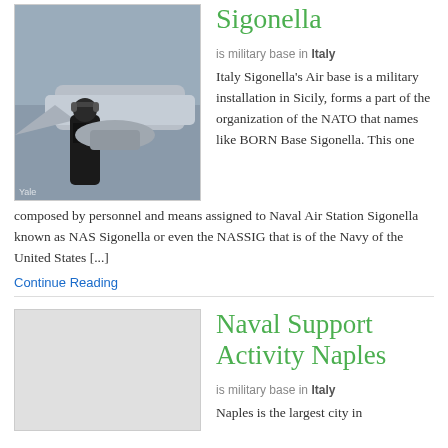[Figure (photo): Military personnel working on an aircraft, person in black shirt with headphones near fighter jet]
Sigonella
is military base in Italy
Italy Sigonella's Air base is a military installation in Sicily, forms a part of the organization of the NATO that names like BORN Base Sigonella. This one composed by personnel and means assigned to Naval Air Station Sigonella known as NAS Sigonella or even the NASSIG that is of the Navy of the United States [...]
Continue Reading
[Figure (photo): Placeholder image for Naval Support Activity Naples article]
Naval Support Activity Naples
is military base in Italy
Naples is the largest city in